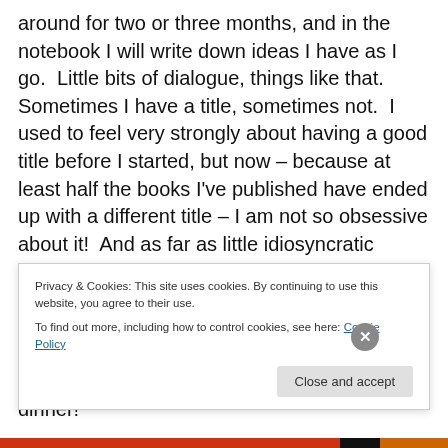around for two or three months, and in the notebook I will write down ideas I have as I go.  Little bits of dialogue, things like that.  Sometimes I have a title, sometimes not.  I used to feel very strongly about having a good title before I started, but now – because at least half the books I've published have ended up with a different title – I am not so obsessive about it!  And as far as little idiosyncratic routines and superstitions are concerned, I don't know that I actually have any that relate to starting a book.  I do have a routine when I finish a book.  I make a really good Manhattan, and then I take my family out to dinner!
Privacy & Cookies: This site uses cookies. By continuing to use this website, you agree to their use.
To find out more, including how to control cookies, see here: Cookie Policy